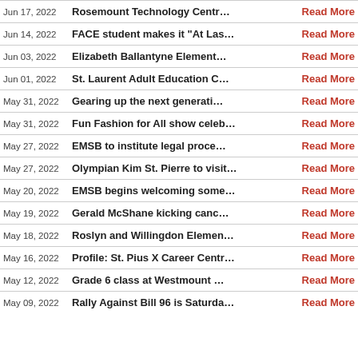Jun 17, 2022 | Rosemount Technology Centr... | Read More
Jun 14, 2022 | FACE student makes it "At Las... | Read More
Jun 03, 2022 | Elizabeth Ballantyne Element... | Read More
Jun 01, 2022 | St. Laurent Adult Education C... | Read More
May 31, 2022 | Gearing up the next generati... | Read More
May 31, 2022 | Fun Fashion for All show celeb... | Read More
May 27, 2022 | EMSB to institute legal proce... | Read More
May 27, 2022 | Olympian Kim St. Pierre to visit... | Read More
May 20, 2022 | EMSB begins welcoming some... | Read More
May 19, 2022 | Gerald McShane kicking canc... | Read More
May 18, 2022 | Roslyn and Willingdon Elemen... | Read More
May 16, 2022 | Profile: St. Pius X Career Centr... | Read More
May 12, 2022 | Grade 6 class at Westmount ... | Read More
May 09, 2022 | Rally Against Bill 96 is Saturda... | Read More